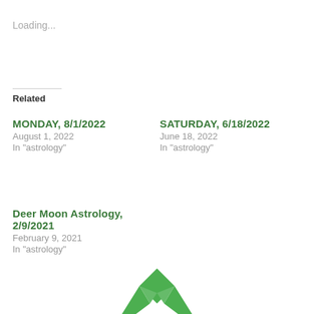Loading...
Related
MONDAY, 8/1/2022
August 1, 2022
In "astrology"
SATURDAY, 6/18/2022
June 18, 2022
In "astrology"
Deer Moon Astrology, 2/9/2021
February 9, 2021
In "astrology"
[Figure (logo): Green logo partially visible at the bottom center of the page]